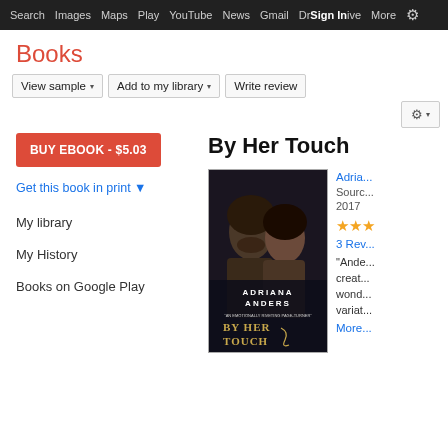Search  Images  Maps  Play  YouTube  News  Gmail  Drive  More  Sign In  ⚙
Books
View sample ▾   Add to my library ▾   Write review   ⚙ ▾
BUY EBOOK - $5.03
Get this book in print ▼
My library
My History
Books on Google Play
By Her Touch
[Figure (photo): Book cover of 'By Her Touch' by Adriana Anders, showing a couple facing each other closely with the title and author name overlaid]
Adria...
Source...
2017
★★★
3 Rev...
"Ande... creat... wond... variat...
More...